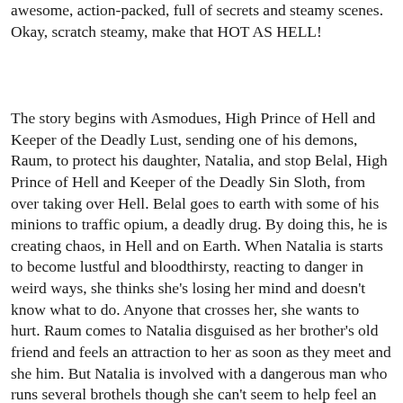awesome, action-packed, full of secrets and steamy scenes. Okay, scratch steamy, make that HOT AS HELL!
The story begins with Asmodues, High Prince of Hell and Keeper of the Deadly Lust, sending one of his demons, Raum, to protect his daughter, Natalia, and stop Belal, High Prince of Hell and Keeper of the Deadly Sin Sloth, from over taking over Hell. Belal goes to earth with some of his minions to traffic opium, a deadly drug. By doing this, he is creating chaos, in Hell and on Earth.
When Natalia is starts to become lustful and bloodthirsty, reacting to danger in weird ways, she thinks she's losing her mind and doesn't know what to do. Anyone that crosses her, she wants to hurt. Raum comes to Natalia disguised as her brother's old friend and feels an attraction to her as soon as they meet and she him. But Natalia is involved with a dangerous man who runs several brothels though she can't seem to help feel an attraction towards Raum. So Natalia ends up going to Hell with Raum to meet her father and figure out a way to stop Belal. There, she meets yet another man who has captured her heart. Natalia is in constant danger but only her love can save the Universe and the man...